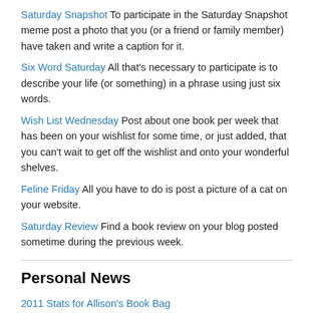Saturday Snapshot To participate in the Saturday Snapshot meme post a photo that you (or a friend or family member) have taken and write a caption for it.
Six Word Saturday All that's necessary to participate is to describe your life (or something) in a phrase using just six words.
Wish List Wednesday Post about one book per week that has been on your wishlist for some time, or just added, that you can't wait to get off the wishlist and onto your wonderful shelves.
Feline Friday All you have to do is post a picture of a cat on your website.
Saturday Review Find a book review on your blog posted sometime during the previous week.
Personal News
2011 Stats for Allison's Book Bag
2012 Stats for Allison's Book Bag
2013 Stats for Allison's Book Bag
2014 Stats for Allison's Book Bag